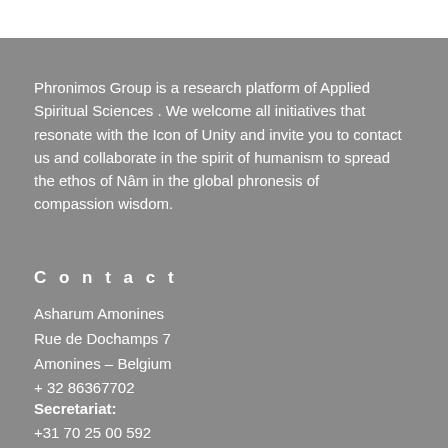Phronimos Group is a research platform of Applied Spiritual Sciences . We welcome all initiatives that resonate with the Icon of Unity and invite you to contact us and collaborate in the spirit of humanism to spread the ethos of Nâm in the global phronesis of compassion wisdom.
Contact
Asharum Amonines
Rue de Dochamps 7
Amonines – Belgium
+ 32 86367702
Secretariat:
+31 70 25 00 592